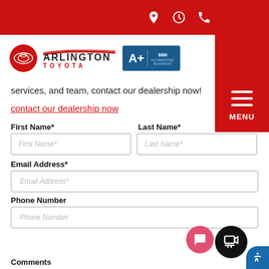[Figure (screenshot): Arlington Toyota dealership website header with red navigation bar showing location, hours, and phone icons, plus Arlington Toyota logo with BBB A+ Accredited Business badge, and a hamburger menu panel on the right.]
services, and team, contact our dealership now!
contact our dealership now
First Name*
Last Name*
First Name*
Last Name*
Email Address*
Email Address*
Phone Number
Phone Number
Comments